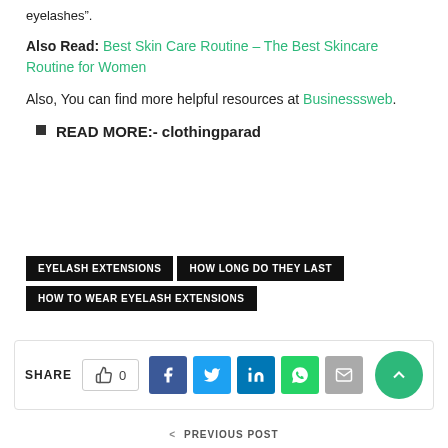eyelashes”.
Also Read: Best Skin Care Routine – The Best Skincare Routine for Women
Also, You can find more helpful resources at Businesssweb.
READ MORE:- clothingparad
EYELASH EXTENSIONS   HOW LONG DO THEY LAST   HOW TO WEAR EYELASH EXTENSIONS
SHARE   0   [social share buttons]
< PREVIOUS POST